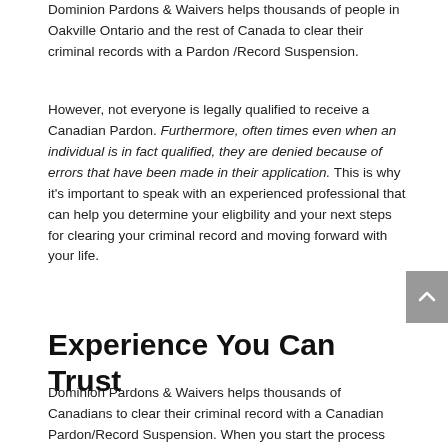Dominion Pardons & Waivers helps thousands of people in Oakville Ontario and the rest of Canada to clear their criminal records with a Pardon /Record Suspension.
However, not everyone is legally qualified to receive a Canadian Pardon. Furthermore, often times even when an individual is in fact qualified, they are denied because of errors that have been made in their application. This is why it's important to speak with an experienced professional that can help you determine your eligbility and your next steps for clearing your criminal record and moving forward with your life.
Experience You Can Trust
Dominion Pardons & Waivers helps thousands of Canadians to clear their criminal record with a Canadian Pardon/Record Suspension. When you start the process with Dominion, you can rest assured that